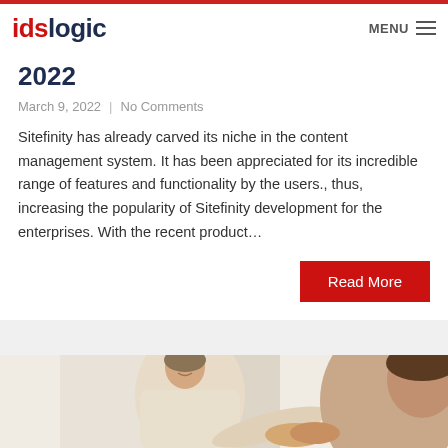idslogic — MENU
2022
March 9, 2022 | No Comments
Sitefinity has already carved its niche in the content management system. It has been appreciated for its incredible range of features and functionality by the users., thus, increasing the popularity of Sitefinity development for the enterprises. With the recent product…
Read More
[Figure (photo): Two people shaking hands, one person in a light cream sweater extending hand toward another person partially visible on the right side]